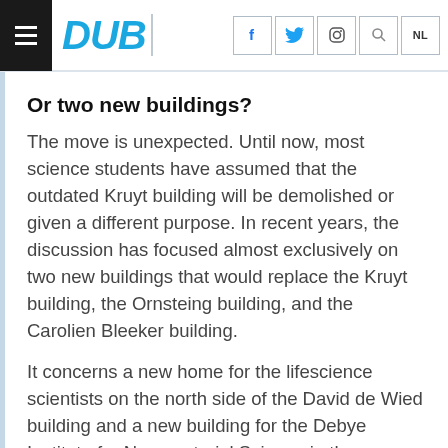DUB
Or two new buildings?
The move is unexpected. Until now, most science students have assumed that the outdated Kruyt building will be demolished or given a different purpose. In recent years, the discussion has focused almost exclusively on two new buildings that would replace the Kruyt building, the Ornsteing building, and the Carolien Bleeker building.
It concerns a new home for the lifescience scientists on the north side of the David de Wied building and a new building for the Debye Institute for Nanomaterial Science in the northwest corner of De Uithof, on the current location of the Bleeker